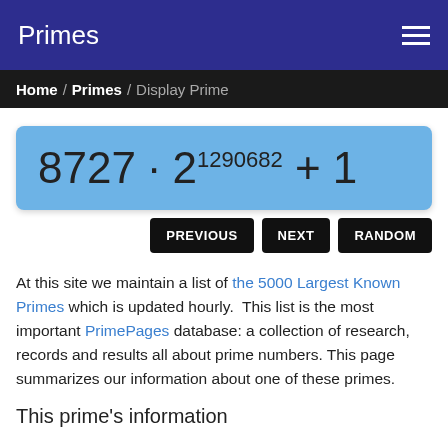Primes
Home / Primes / Display Prime
PREVIOUS  NEXT  RANDOM
At this site we maintain a list of the 5000 Largest Known Primes which is updated hourly. This list is the most important PrimePages database: a collection of research, records and results all about prime numbers. This page summarizes our information about one of these primes.
This prime's information